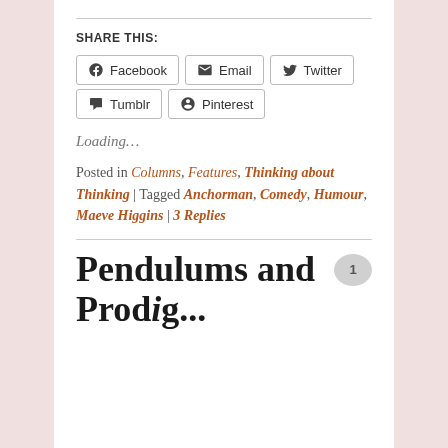SHARE THIS:
Facebook  Email  Twitter  Tumblr  Pinterest
Loading…
Posted in Columns, Features, Thinking about Thinking | Tagged Anchorman, Comedy, Humour, Maeve Higgins | 3 Replies
Pendulums and Prodigies Sorry...